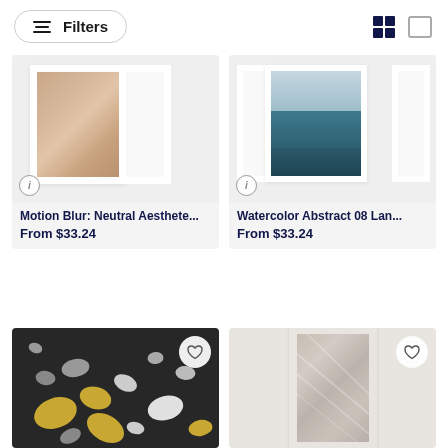Filters | grid view toggle
[Figure (screenshot): Product card: Motion Blur Neutral Aesthetic art print with beige/tan silky fabric image]
Motion Blur: Neutral Aesthete...
From $33.24
[Figure (screenshot): Product card: Watercolor Abstract 08 Landscape art print with teal ocean/water image]
Watercolor Abstract 08 Lan...
From $33.24
[Figure (screenshot): Product card (partial): Terrazzo pattern with dark background and colorful stone chips]
[Figure (screenshot): Product card (partial): Smooth grey silky fabric texture]